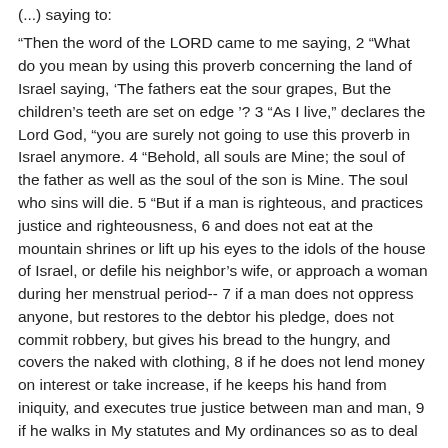(...) saying to:
“Then the word of the LORD came to me saying, 2 “What do you mean by using this proverb concerning the land of Israel saying, ‘The fathers eat the sour grapes, But the children’s teeth are set on edge ’? 3 “As I live,” declares the Lord God, “you are surely not going to use this proverb in Israel anymore. 4 “Behold, all souls are Mine; the soul of the father as well as the soul of the son is Mine. The soul who sins will die. 5 “But if a man is righteous, and practices justice and righteousness, 6 and does not eat at the mountain shrines or lift up his eyes to the idols of the house of Israel, or defile his neighbor’s wife, or approach a woman during her menstrual period-- 7 if a man does not oppress anyone, but restores to the debtor his pledge, does not commit robbery, but gives his bread to the hungry, and covers the naked with clothing, 8 if he does not lend money on interest or take increase, if he keeps his hand from iniquity, and executes true justice between man and man, 9 if he walks in My statutes and My ordinances so as to deal faithfully-- he is righteous and will surely live,” declares the Lord God.”